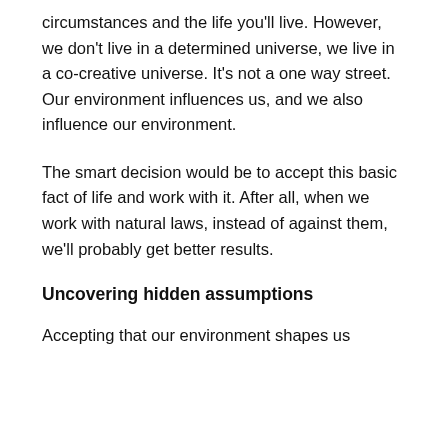circumstances and the life you'll live. However, we don't live in a determined universe, we live in a co-creative universe. It's not a one way street. Our environment influences us, and we also influence our environment.
The smart decision would be to accept this basic fact of life and work with it. After all, when we work with natural laws, instead of against them, we'll probably get better results.
Uncovering hidden assumptions
Accepting that our environment shapes us